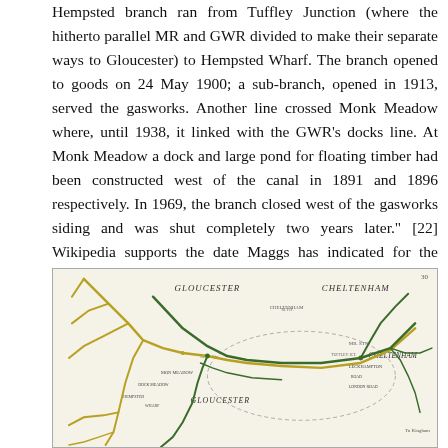Hempsted branch ran from Tuffley Junction (where the hitherto parallel MR and GWR divided to make their separate ways to Gloucester) to Hempsted Wharf. The branch opened to goods on 24 May 1900; a sub-branch, opened in 1913, served the gasworks. Another line crossed Monk Meadow where, until 1938, it linked with the GWR's docks line. At Monk Meadow a dock and large pond for floating timber had been constructed west of the canal in 1891 and 1896 respectively. In 1969, the branch closed west of the gasworks siding and was shut completely two years later." [22] Wikipedia supports the date Maggs has indicated for the opening of the line. [37]
[Figure (map): Historical railway map showing Gloucester and Cheltenham area with railway lines. Green and yellow lines indicate different railway routes. Labels include GLOUCESTER, CHELTENHAM, G.W. Sta., Cheltenham station area, Monk Meadow, and various other station and location names. Page number 30 visible in top right corner.]